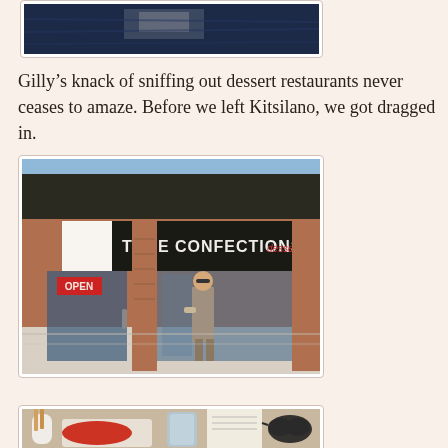[Figure (photo): Top portion of a dark navy blue photo, partially cropped at top of page]
Gilly’s knack of sniffing out dessert restaurants never ceases to amaze. Before we left Kitsilano, we got dragged in.
[Figure (photo): Exterior storefront photo of True Confections dessert restaurant in Kitsilano, with brick facade, large windows, OPEN sign, and a person standing outside]
[Figure (photo): Interior table photo at True Confections showing dessert plates, a glass of water, and various items on the table]